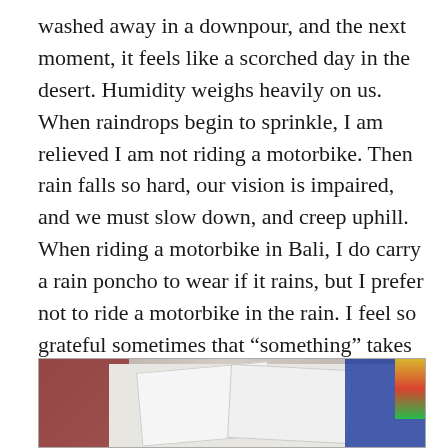washed away in a downpour, and the next moment, it feels like a scorched day in the desert. Humidity weighs heavily on us. When raindrops begin to sprinkle, I am relieved I am not riding a motorbike. Then rain falls so hard, our vision is impaired, and we must slow down, and creep uphill. When riding a motorbike in Bali, I do carry a rain poncho to wear if it rains, but I prefer not to ride a motorbike in the rain. I feel so grateful sometimes that “something” takes care of me in life. I could so easily be a hopeless basket case flailing through life if I had no miracles appearing in my day. Often. Like right now, I could be huddling under the branches of a banyan tree with my motorbike, waiting for clear skies.
[Figure (photo): A photograph of a clothing shop or market stall showing hanging white t-shirts in the center, a floral/patterned fabric on the left side, and colorful clothing items on the right side including what appears to be blue and multicolored garments.]